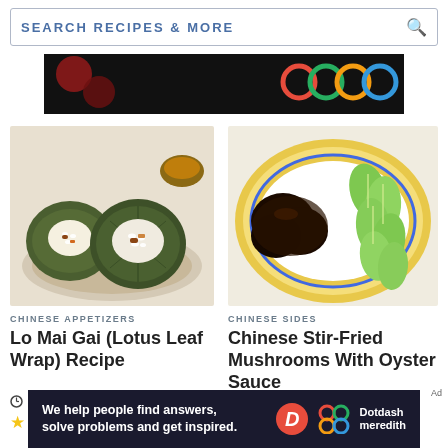SEARCH RECIPES & MORE
[Figure (photo): Advertisement banner with colorful circles on black background]
[Figure (photo): Lo Mai Gai lotus leaf wraps filled with sticky rice on a plate]
[Figure (photo): Chinese stir-fried mushrooms with oyster sauce and bok choy on a decorative plate]
CHINESE APPETIZERS
CHINESE SIDES
Lo Mai Gai (Lotus Leaf Wrap) Recipe
Chinese Stir-Fried Mushrooms With Oyster Sauce
95 MINS
27 MINS
[Figure (other): Star rating: 3.5 out of 5 stars for Lo Mai Gai]
[Figure (other): Star rating: partially visible for Chinese Stir-Fried Mushrooms]
Ad
[Figure (photo): Dotdash Meredith advertisement banner — We help people find answers, solve problems and get inspired.]